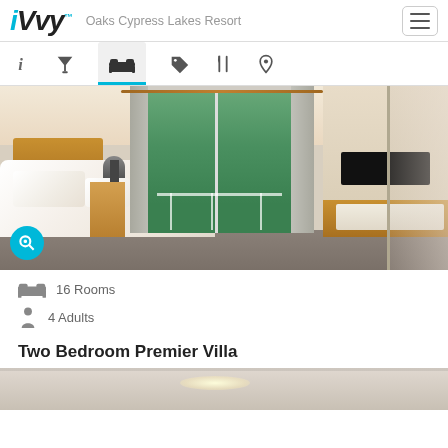iVvy — Oaks Cypress Lakes Resort
[Figure (screenshot): Navigation tab bar with icons: info (i), cocktail/bar, bed/rooms (active, highlighted blue), tag/deals, dining/food, location pin]
[Figure (photo): Hotel room photo showing a large white bed with pillows, wooden headboard, bedside lamp, sliding glass doors to balcony with greenery beyond, grey curtains, and a TV unit on the right wall with mirrored wardrobe]
16 Rooms
4 Adults
Two Bedroom Premier Villa
[Figure (photo): Partial view of another hotel room photo at the bottom of the page]